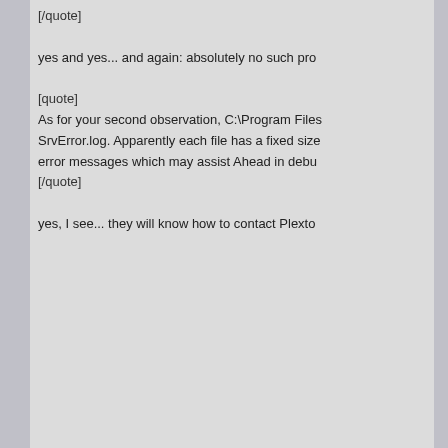[/quote]

yes and yes... and again: absolutely no such pro

[quote]
As for your second observation, C:\Program Files SrvError.log. Apparently each file has a fixed size error messages which may assist Ahead in debu
[/quote]

yes, I see... they will know how to contact Plexto
KCK
CD-RW Player
Posts: 471
Joined: Wed Nov 13, 2002 12:55 pm
Post by KCK on Mon Jun 02, 2003 11:01 am

EasyWriteReader 4.0.0.10 (663057 bytes) is now Download Page | InCD | Utilities.

Note that for InCD 3.x you may need EasyWriteR

EasyWriteReader v1.0 (750220 bytes) is still ava

ftp://ftp.nero.com/EasyWriteReader.exe

ftp://ftp4.nero.com/EasyWriteReader.exe